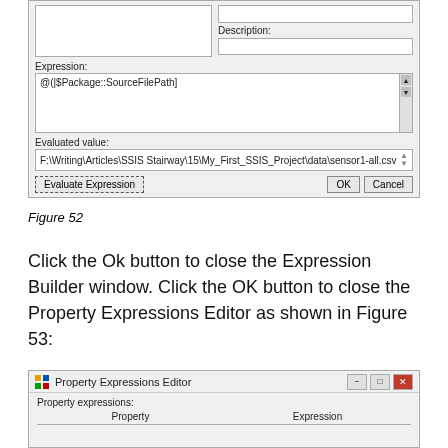[Figure (screenshot): Expression Builder dialog showing Expression field with '@(|$Package::SourceFilePath)' and Evaluated value 'F:\Writing\Articles\SSIS Stairway\15\My_First_SSIS_Project\data\sensor1-all.csv', with Evaluate Expression, OK, and Cancel buttons.]
Figure 52
Click the Ok button to close the Expression Builder window. Click the OK button to close the Property Expressions Editor as shown in Figure 53:
[Figure (screenshot): Property Expressions Editor window with Property expressions label and a table with Property and Expression columns.]